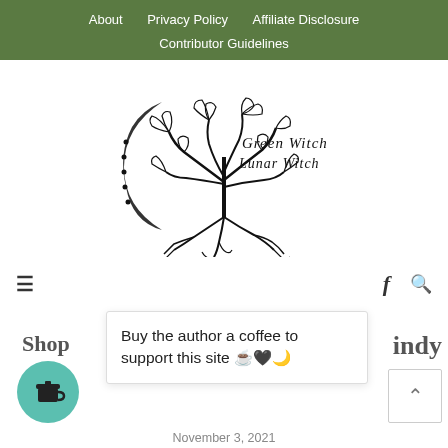About   Privacy Policy   Affiliate Disclosure   Contributor Guidelines
[Figure (logo): Green Witch Lunar Witch logo featuring a stylized tree of life with crescent moon and ornate branches with text 'Green Witch Lunar Witch']
hamburger menu icon, Facebook icon, search icon
Shop
[Figure (illustration): Teal/green circular coffee cup icon button]
Buy the author a coffee to support this site ☕🖤🌙
indy
November 3, 2021